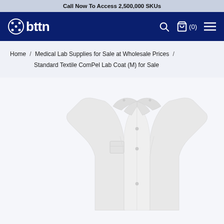Call Now To Access 2,500,000 SKUs
[Figure (logo): obttn logo with button/circle icon on dark navy background with search, cart (0), and menu icons]
Home / Medical Lab Supplies for Sale at Wholesale Prices / Standard Textile ComPel Lab Coat (M) for Sale
[Figure (photo): White lab coat product photo showing front view with collar, buttons, and breast pocket against light gray background]